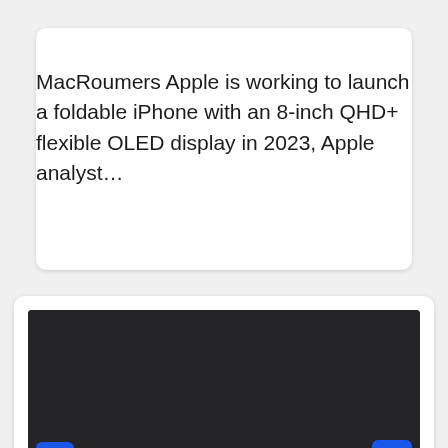MacRoumers Apple is working to launch a foldable iPhone with an 8-inch QHD+ flexible OLED display in 2023, Apple analyst…
[Figure (screenshot): Dark background image block with a blue camera icon button at bottom-left and a blue scroll-to-top arrow button at bottom-right]